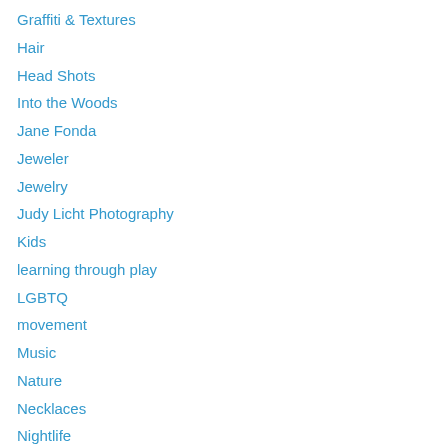Graffiti & Textures
Hair
Head Shots
Into the Woods
Jane Fonda
Jeweler
Jewelry
Judy Licht Photography
Kids
learning through play
LGBTQ
movement
Music
Nature
Necklaces
Nightlife
Nonprofit Organizations
Nursery School
Paintings
People